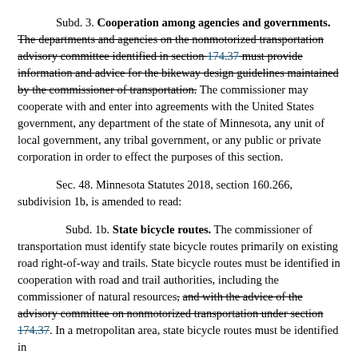Subd. 3. Cooperation among agencies and governments. The departments and agencies on the nonmotorized transportation advisory committee identified in section 174.37 must provide information and advice for the bikeway design guidelines maintained by the commissioner of transportation. The commissioner may cooperate with and enter into agreements with the United States government, any department of the state of Minnesota, any unit of local government, any tribal government, or any public or private corporation in order to effect the purposes of this section.
Sec. 48. Minnesota Statutes 2018, section 160.266, subdivision 1b, is amended to read:
Subd. 1b. State bicycle routes. The commissioner of transportation must identify state bicycle routes primarily on existing road right-of-way and trails. State bicycle routes must be identified in cooperation with road and trail authorities, including the commissioner of natural resources, and with the advice of the advisory committee on nonmotorized transportation under section 174.37. In a metropolitan area, state bicycle routes must be identified in